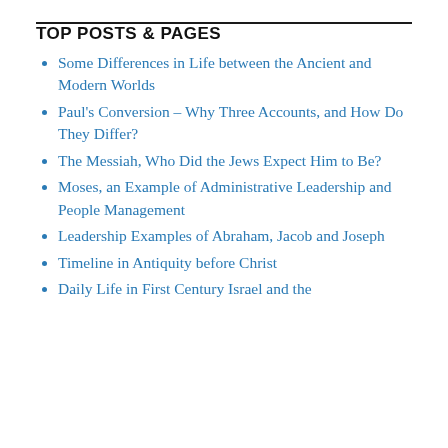TOP POSTS & PAGES
Some Differences in Life between the Ancient and Modern Worlds
Paul's Conversion – Why Three Accounts, and How Do They Differ?
The Messiah, Who Did the Jews Expect Him to Be?
Moses, an Example of Administrative Leadership and People Management
Leadership Examples of Abraham, Jacob and Joseph
Timeline in Antiquity before Christ
Daily Life in First Century Israel and the